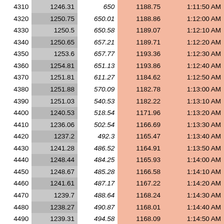|  |  |  |  |  |
| --- | --- | --- | --- | --- |
| 4310 | 1246.31 | 650 | 1188.75 | 1:11:50 AM |
| 4320 | 1250.75 | 650.01 | 1188.86 | 1:12:00 AM |
| 4330 | 1250.5 | 650.58 | 1189.07 | 1:12:10 AM |
| 4340 | 1250.65 | 657.21 | 1189.71 | 1:12:20 AM |
| 4350 | 1253.6 | 657.77 | 1193.36 | 1:12:30 AM |
| 4360 | 1254.81 | 651.13 | 1193.86 | 1:12:40 AM |
| 4370 | 1251.81 | 611.27 | 1184.62 | 1:12:50 AM |
| 4380 | 1251.88 | 570.09 | 1182.78 | 1:13:00 AM |
| 4390 | 1251.03 | 540.53 | 1182.22 | 1:13:10 AM |
| 4400 | 1240.53 | 518.54 | 1171.96 | 1:13:20 AM |
| 4410 | 1236.06 | 502.54 | 1166.69 | 1:13:30 AM |
| 4420 | 1237.2 | 492.3 | 1165.47 | 1:13:40 AM |
| 4430 | 1241.28 | 486.52 | 1164.91 | 1:13:50 AM |
| 4440 | 1248.44 | 484.25 | 1165.93 | 1:14:00 AM |
| 4450 | 1248.67 | 485.28 | 1166.58 | 1:14:10 AM |
| 4460 | 1241.61 | 487.17 | 1167.22 | 1:14:20 AM |
| 4470 | 1239.7 | 488.64 | 1168.24 | 1:14:30 AM |
| 4480 | 1238.27 | 490.87 | 1168.01 | 1:14:40 AM |
| 4490 | 1239.31 | 494.58 | 1168.09 | 1:14:50 AM |
| 4500 | 1229.48 | 498.15 | 1165.7 | 1:15:00 AM |
| 4510 | 1193.65 | 497.16 | 1154.96 | 1:15:10 AM |
| 4520 | 1175.09 | 496.07 | 1151.3 | 1:15:20 AM |
| 4530 | 1167.25 | 495.88 | 1151.08 | 1:15:30 AM |
| 4540 | 1164.72 | 496.19 | 1151.71 | 1:15:40 AM |